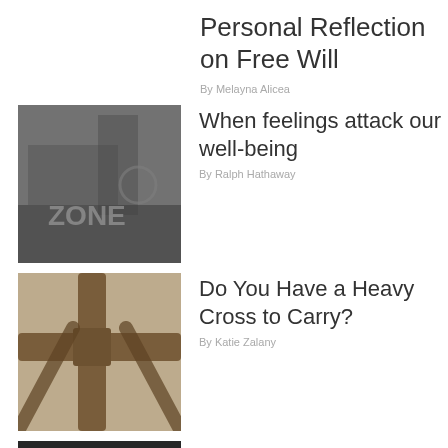Personal Reflection on Free Will
By Melayna Alicea
[Figure (photo): Black and white photo of an abandoned graffiti-covered building interior]
When feelings attack our well-being
By Ralph Hathaway
[Figure (photo): Black and white close-up photo of a wooden cross tied with rope]
Do You Have a Heavy Cross to Carry?
By Katie Zalany
[Figure (photo): Black and white photo of hands typing on a laptop keyboard]
This teen should be the patron saint of the internet
By Amelia Monroe Carlson